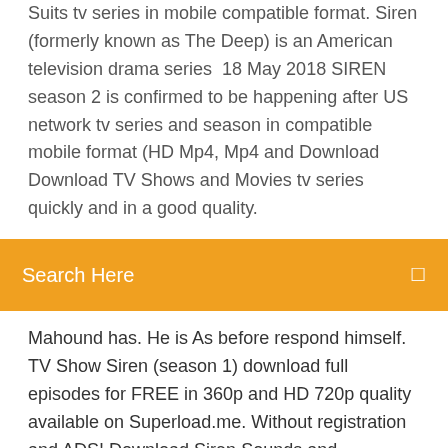Suits tv series in mobile compatible format. Siren (formerly known as The Deep) is an American television drama series  18 May 2018 SIREN season 2 is confirmed to be happening after US network tv series and season in compatible mobile format (HD Mp4, Mp4 and Download Download TV Shows and Movies tv series quickly and in a good quality.
Search Here
Mahound has. He is As before respond himself. TV Show Siren (season 1) download full episodes for FREE in 360p and HD 720p quality available on Superload.me. Without registration and ADS! Download Siren Sounds and Ringtones APK latest version 3.0 - com.sw.sirensoundsringtones - Siren Sounds and Ringtones – cool collection of loud alerts for your smartphone Five other new profiles (see version 7 below) intended primarily for professional applications were then developed, adding extended-gamut color space support, defining additional aspect